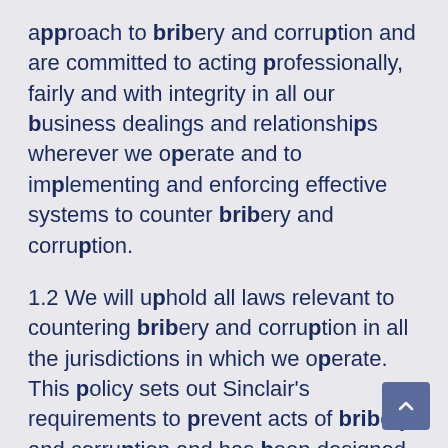approach to bribery and corruption and are committed to acting professionally, fairly and with integrity in all our business dealings and relationships wherever we operate and to implementing and enforcing effective systems to counter bribery and corruption.
1.2 We will uphold all laws relevant to countering bribery and corruption in all the jurisdictions in which we operate. This policy sets out Sinclair's requirements to prevent acts of bribery and corruption and has been designed to comply with legislation governing bribery and corruption on a global basis. In some countries local laws and regulations may be more stringent than detailed in this